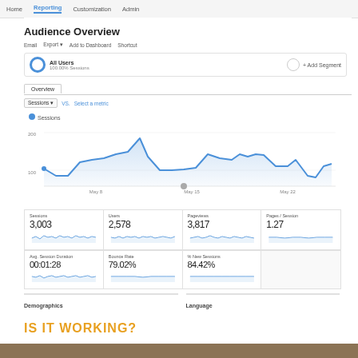Home  Reporting  Customization  Admin
Audience Overview
Email  Export ▾  Add to Dashboard  Shortcut
All Users
100.00% Sessions
+ Add Segment
Overview
Sessions ▾  VS.  Select a metric
[Figure (line-chart): Sessions]
| Sessions | Users | Pageviews | Pages / Session |
| --- | --- | --- | --- |
| 3,003 | 2,578 | 3,817 | 1.27 |
| Avg. Session Duration | Bounce Rate | % New Sessions |  |
| --- | --- | --- | --- |
| 00:01:28 | 79.02% | 84.42% |  |
Demographics
Language
IS IT WORKING?